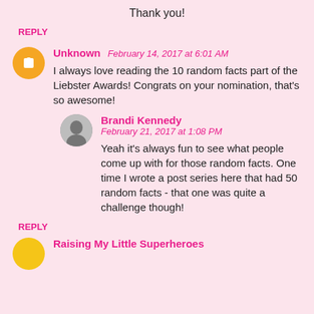Thank you!
REPLY
Unknown  February 14, 2017 at 6:01 AM
I always love reading the 10 random facts part of the Liebster Awards! Congrats on your nomination, that's so awesome!
Brandi Kennedy
February 21, 2017 at 1:08 PM
Yeah it's always fun to see what people come up with for those random facts. One time I wrote a post series here that had 50 random facts - that one was quite a challenge though!
REPLY
Raising My Little Superheroes